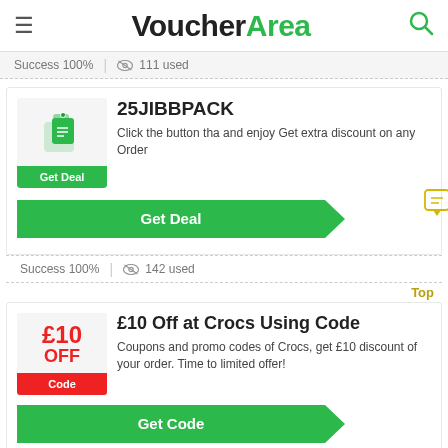VoucherArea
Success 100%  |  111 used
25JIBBPACK
Click the button tha and enjoy Get extra discount on any Order
Get Deal
Success 100%  |  142 used
Top
£10 Off at Crocs Using Code
Coupons and promo codes of Crocs, get £10 discount of your order. Time to limited offer!
Get Code
Success 100%